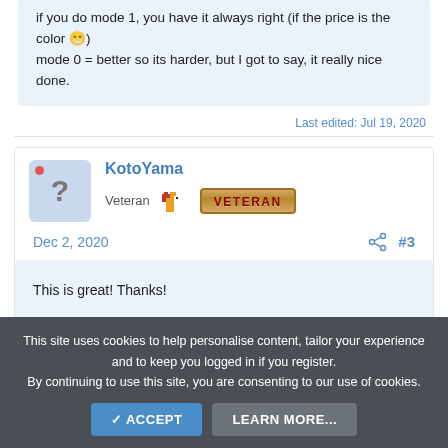if you do mode 1, you have it always right (if the price is the color 😁)
mode 0 = better so its harder, but I got to say, it really nice done.
Last edited: Jul 19, 2020
KotoYama
Veteran
Dec 2, 2020
#3
This is great! Thanks!
This site uses cookies to help personalise content, tailor your experience and to keep you logged in if you register.
By continuing to use this site, you are consenting to our use of cookies.